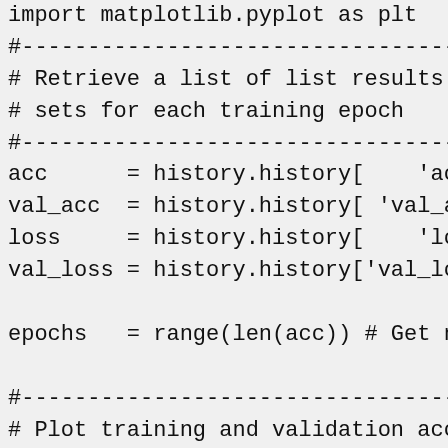import matplotlib.pyplot as plt
#--------------------------------------------------
# Retrieve a list of list results on training
# sets for each training epoch
#--------------------------------------------------
acc      = history.history[    'accuracy' ]
val_acc  = history.history[ 'val_accuracy
loss     = history.history[    'loss' ]
val_loss = history.history['val_loss' ]

epochs   = range(len(acc)) # Get number

#--------------------------------------------------
# Plot training and validation accuracy p
#--------------------------------------------------